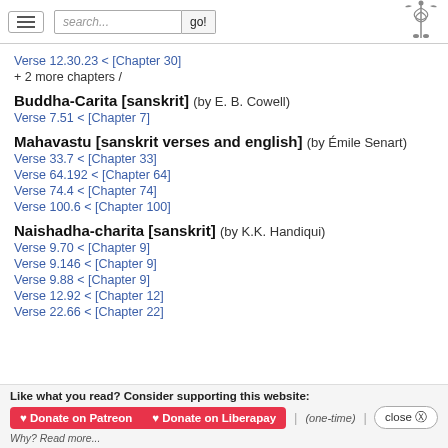search... go!
Verse 12.30.23 < [Chapter 30]
+ 2 more chapters /
Buddha-Carita [sanskrit] (by E. B. Cowell)
Verse 7.51 < [Chapter 7]
Mahavastu [sanskrit verses and english] (by Émile Senart)
Verse 33.7 < [Chapter 33]
Verse 64.192 < [Chapter 64]
Verse 74.4 < [Chapter 74]
Verse 100.6 < [Chapter 100]
Naishadha-charita [sanskrit] (by K.K. Handiqui)
Verse 9.70 < [Chapter 9]
Verse 9.146 < [Chapter 9]
Verse 9.88 < [Chapter 9]
Verse 12.92 < [Chapter 12]
Verse 22.66 < [Chapter 22]
Like what you read? Consider supporting this website: ♥ Donate on Patreon ♥ Donate on Liberapay | (one-time) | close Why? Read more...